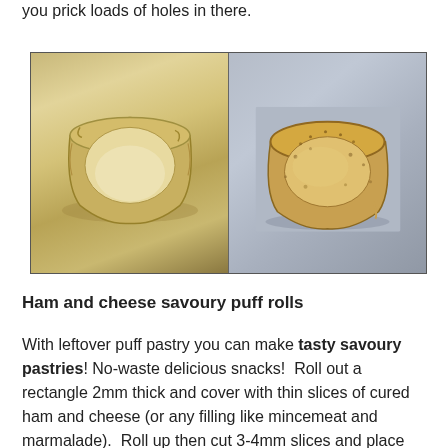you prick loads of holes in there.
[Figure (photo): Two side-by-side photos of pastry cups/bowls: left shows an unbaked raw pastry shell in a cup, right shows a baked golden-brown pastry shell on a blue-grey background.]
Ham and cheese savoury puff rolls
With leftover puff pastry you can make tasty savoury pastries! No-waste delicious snacks!  Roll out a rectangle 2mm thick and cover with thin slices of cured ham and cheese (or any filling like mincemeat and marmalade).  Roll up then cut 3-4mm slices and place on the baking tray around your tart.